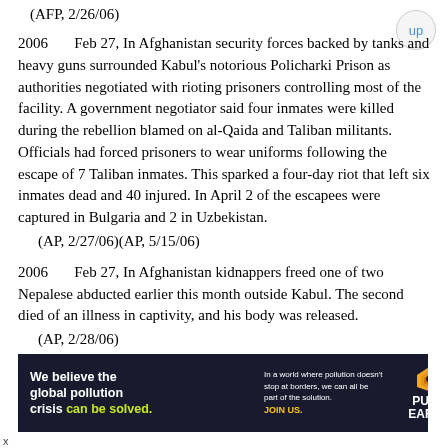(AFP, 2/26/06)
2006 Feb 27, In Afghanistan security forces backed by tanks and heavy guns surrounded Kabul's notorious Policharki Prison as authorities negotiated with rioting prisoners controlling most of the facility. A government negotiator said four inmates were killed during the rebellion blamed on al-Qaida and Taliban militants. Officials had forced prisoners to wear uniforms following the escape of 7 Taliban inmates. This sparked a four-day riot that left six inmates dead and 40 injured. In April 2 of the escapees were captured in Bulgaria and 2 in Uzbekistan.
(AP, 2/27/06)(AP, 5/15/06)
2006 Feb 27, In Afghanistan kidnappers freed one of two Nepalese abducted earlier this month outside Kabul. The second died of an illness in captivity, and his body was released.
(AP, 2/28/06)
[Figure (infographic): Pure Earth advertisement banner: 'We believe the global pollution crisis can be solved.' with Pure Earth logo on dark background.]